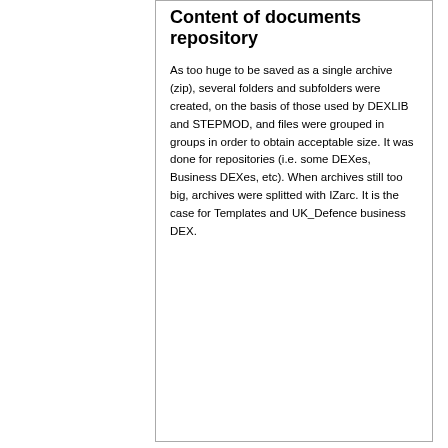Content of documents repository
As too huge to be saved as a single archive (zip), several folders and subfolders were created, on the basis of those used by DEXLIB and STEPMOD, and files were grouped in groups in order to obtain acceptable size. It was done for repositories (i.e. some DEXes, Business DEXes, etc). When archives still too big, archives were splitted with IZarc. It is the case for Templates and UK_Defence business DEX.